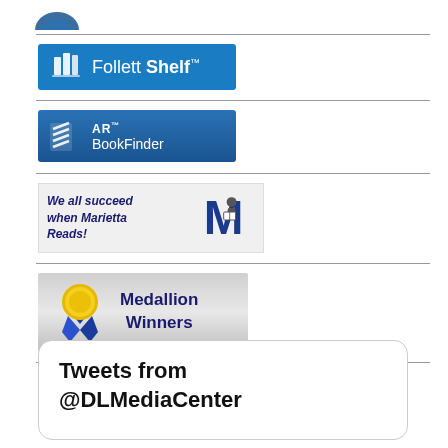[Figure (logo): Partial logo visible at top of page]
[Figure (logo): Follett Shelf logo button - blue banner with books icon and text 'Follett Shelf']
[Figure (logo): AR BookFinder logo button - dark blue banner with AR logo and text 'AR BookFinder']
[Figure (logo): Marietta Reads banner - light gray with text 'We all succeed when Marietta Reads!' and M mascot]
[Figure (logo): Medallion Winners banner - silver gradient with gold medal and text 'Medallion Winners']
Tweets from @DLMediaCenter